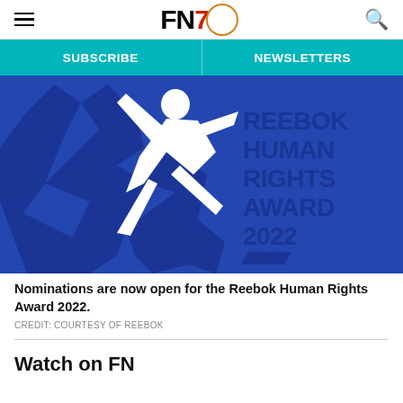FN7 [Footwear News logo with navigation hamburger and search icon]
SUBSCRIBE | NEWSLETTERS
[Figure (illustration): Reebok Human Rights Award 2022 logo — white silhouette of a person leaping/breaking free against a blue fractured background, with text 'REEBOK HUMAN RIGHTS AWARD 2022' and the Reebok vector logo mark]
Nominations are now open for the Reebok Human Rights Award 2022.
CREDIT: COURTESY OF REEBOK
Watch on FN